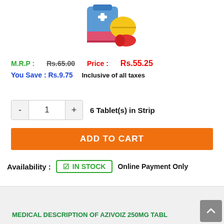[Figure (illustration): Pharmacy/medicine product icon with a blue medicine box with white cross, yellow pill, and red capsule]
M.R.P : Rs.65.00   Price : Rs.55.25
You Save : Rs.9.75   Inclusive of all taxes
1   6 Tablet(s) in Strip
ADD TO CART
Availability :  ☑ IN STOCK   Online Payment Only
MEDICAL DESCRIPTION OF AZIVOIZ 250MG TABL...